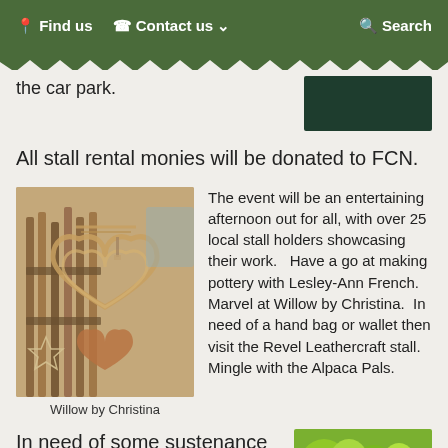Find us   Contact us ▾   Search
the car park.
All stall rental monies will be donated to FCN.
[Figure (photo): Wicker and willow craft items including heart shapes and star decorations]
Willow by Christina
The event will be an entertaining afternoon out for all, with over 25 local stall holders showcasing their work.   Have a go at making pottery with Lesley-Ann French.  Marvel at Willow by Christina.  In need of a hand bag or wallet then visit the Revel Leathercraft stall.  Mingle with the Alpaca Pals.
In need of some sustenance after all that browsing then Samosa wallah will be on
[Figure (photo): Outdoor garden scene with yellow-green plants and terracotta pots]